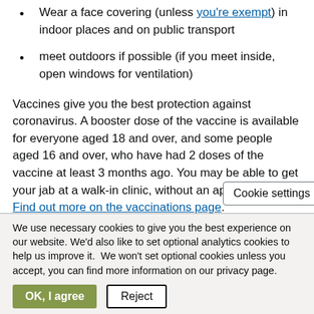Wear a face covering (unless you're exempt) in indoor places and on public transport
meet outdoors if possible (if you meet inside, open windows for ventilation)
Vaccines give you the best protection against coronavirus. A booster dose of the vaccine is available for everyone aged 18 and over, and some people aged 16 and over, who have had 2 doses of the vaccine at least 3 months ago. You may be able to get your jab at a walk-in clinic, without an appointment. Find out more on the vaccinations page.
If you do have coronavirus you should try and stay
We use necessary cookies to give you the best experience on our website. We'd also like to set optional analytics cookies to help us improve it.  We won't set optional cookies unless you accept, you can find more information on our privacy page.